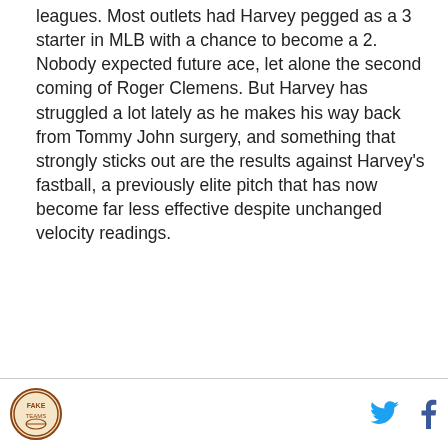leagues. Most outlets had Harvey pegged as a 3 starter in MLB with a chance to become a 2. Nobody expected future ace, let alone the second coming of Roger Clemens. But Harvey has struggled a lot lately as he makes his way back from Tommy John surgery, and something that strongly sticks out are the results against Harvey's fastball, a previously elite pitch that has now become far less effective despite unchanged velocity readings.
[logo] [twitter] [facebook]